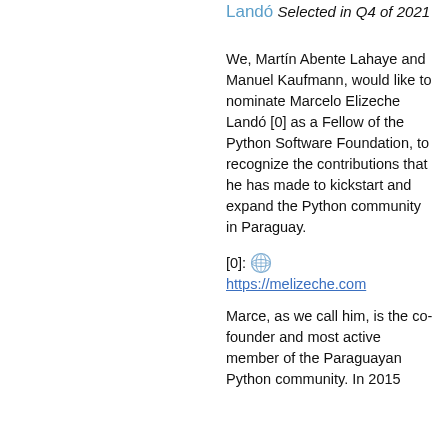Landó
Selected in Q4 of 2021
We, Martín Abente Lahaye and Manuel Kaufmann, would like to nominate Marcelo Elizeche Landó [0] as a Fellow of the Python Software Foundation, to recognize the contributions that he has made to kickstart and expand the Python community in Paraguay.
[0]: https://melizeche.com
Marce, as we call him, is the co-founder and most active member of the Paraguayan Python community. In 2015